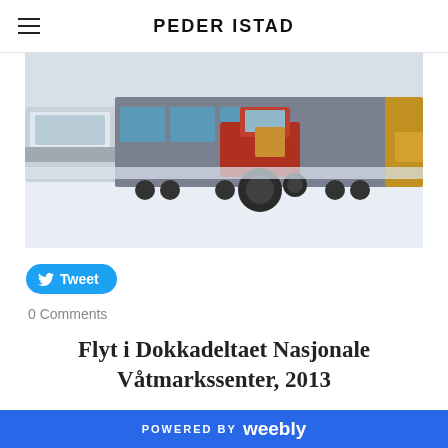PEDER ISTAD
[Figure (photo): A red tractor pulling a large flatbed trailer alongside a white semi-truck, both on a snowy road in winter conditions. The scene appears to be in Scandinavia.]
Tweet
0 Comments
Flyt i Dokkadeltaet Nasjonale Våtmarkssenter, 2013
2/4/2013  0 Comments
POWERED BY weebly